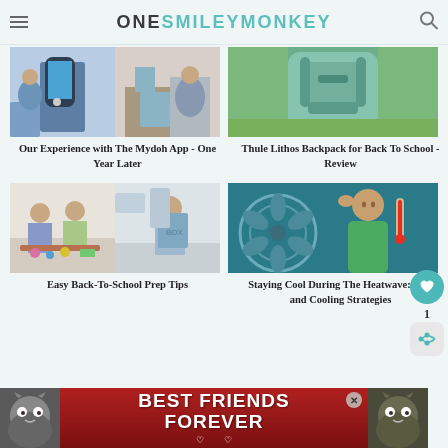ONE SMILEY MONKEY
[Figure (photo): Two photos side by side: child holding smartphone and kitchen scene]
Our Experience with The Mydoh App - One Year Later
[Figure (photo): Child wearing a teal/mint backpack outdoors on grass]
Thule Lithos Backpack for Back To School - Review
[Figure (photo): Two photos side by side: children with craft supplies and child holding a box]
Easy Back-To-School Prep Tips
[Figure (photo): Woman holding a thermometer in front of a fan - staying cool during heatwave]
Staying Cool During The Heatwave: Tips and Cooling Strategies
[Figure (photo): Advertisement banner: Best Friends Forever with cats]